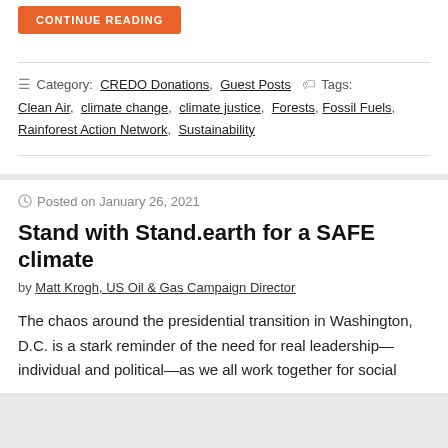CONTINUE READING
Category: CREDO Donations, Guest Posts   Tags: Clean Air, climate change, climate justice, Forests, Fossil Fuels, Rainforest Action Network, Sustainability
Posted on January 26, 2021
Stand with Stand.earth for a SAFE climate
by Matt Krogh, US Oil & Gas Campaign Director
The chaos around the presidential transition in Washington, D.C. is a stark reminder of the need for real leadership—individual and political—as we all work together for social